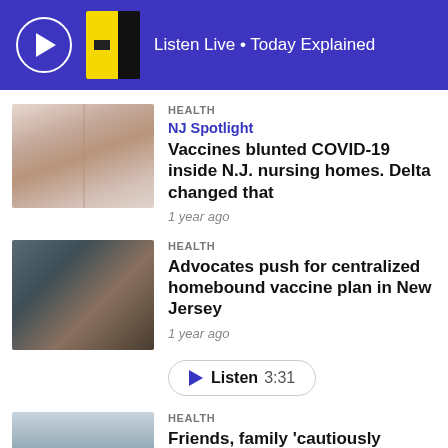Listen Live • Today Explained
HEALTH
NJ Spotlight
Vaccines blunted COVID-19 inside N.J. nursing homes. Delta changed that
1 year ago
[Figure (photo): Hospital hallway with a person in a wheelchair at the far end]
HEALTH
Advocates push for centralized homebound vaccine plan in New Jersey
1 year ago
[Figure (photo): Elderly person's hand resting on a wooden cane]
▶ Listen  3:31
HEALTH
Friends, family 'cautiously
[Figure (photo): Shelves with products, partially visible at bottom of page]